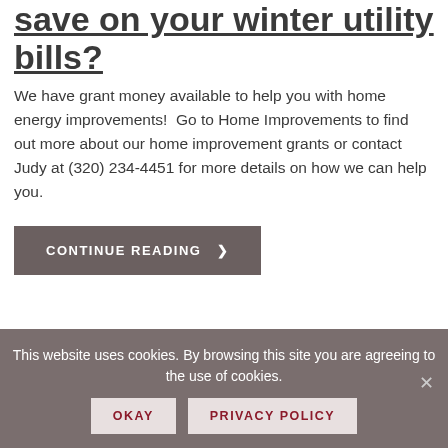save on your winter utility bills?
We have grant money available to help you with home energy improvements!  Go to Home Improvements to find out more about our home improvement grants or contact Judy at (320) 234-4451 for more details on how we can help you.
CONTINUE READING ❯
This website uses cookies. By browsing this site you are agreeing to the use of cookies.
OKAY
PRIVACY POLICY